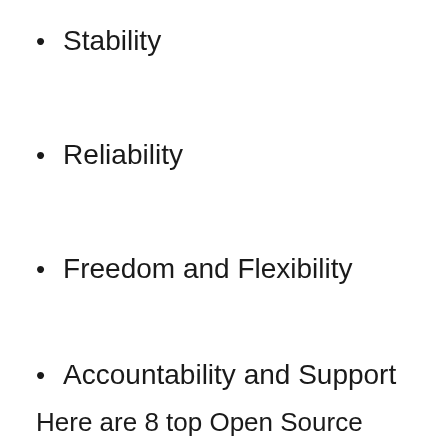Stability
Reliability
Freedom and Flexibility
Accountability and Support
Here are 8 top Open Source